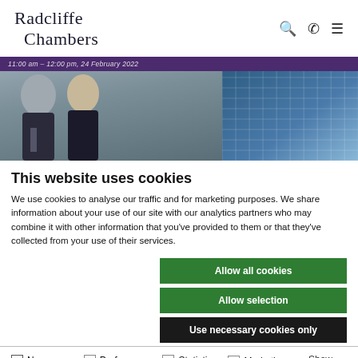Radcliffe Chambers
[Figure (photo): Banner with two professional headshots (male and female barrister) and a modern glass building. Purple bar at top reads: 11:00 am – 12:00 pm, 24 February 2022]
This website uses cookies
We use cookies to analyse our traffic and for marketing purposes. We share information about your use of our site with our analytics partners who may combine it with other information that you've provided to them or that they've collected from your use of their services.
Allow all cookies
Allow selection
Use necessary cookies only
Necessary  Preferences  Statistics  Marketing  Show details